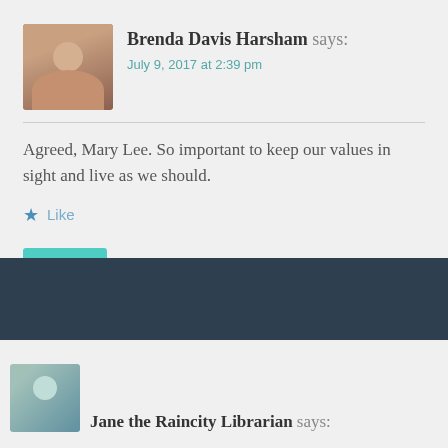Brenda Davis Harsham says: July 9, 2017 at 2:39 pm
Agreed, Mary Lee. So important to keep our values in sight and live as we should.
Like
Reply
Jane the Raincity Librarian says: